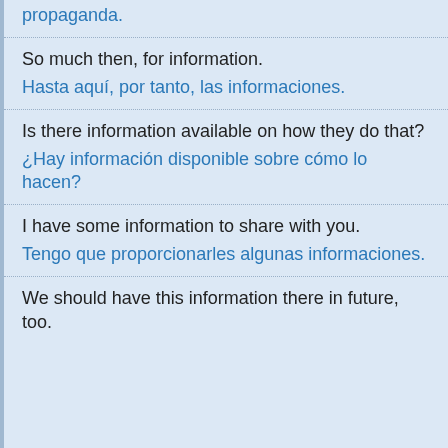propaganda.
So much then, for information.
Hasta aquí, por tanto, las informaciones.
Is there information available on how they do that?
¿Hay información disponible sobre cómo lo hacen?
I have some information to share with you.
Tengo que proporcionarles algunas informaciones.
We should have this information there in future, too.